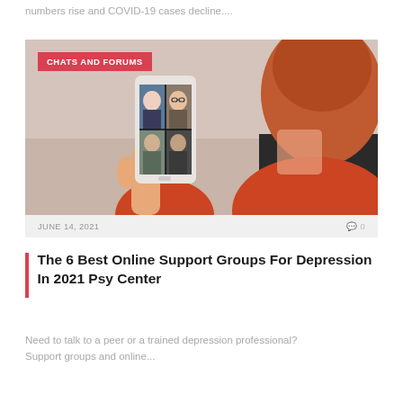numbers rise and COVID-19 cases decline....
[Figure (photo): Woman with red/orange hair holding a smartphone displaying a video call with multiple participants. She is viewed from behind/side. A red badge in the top-left reads 'CHATS AND FORUMS'.]
JUNE 14, 2021    0
The 6 Best Online Support Groups For Depression In 2021 Psy Center
Need to talk to a peer or a trained depression professional? Support groups and online...